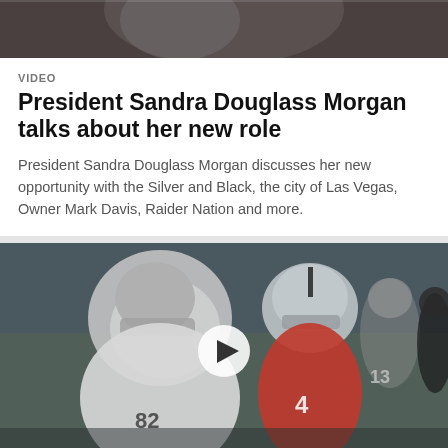[Figure (photo): Top portion of a person, cropped, dark background]
VIDEO
President Sandra Douglass Morgan talks about her new role
President Sandra Douglass Morgan discusses her new opportunity with the Silver and Black, the city of Las Vegas, Owner Mark Davis, Raider Nation and more.
[Figure (photo): Football practice scene with players in Las Vegas Raiders uniforms and a quarterback in a red jersey, with a play button overlay indicating this is a video thumbnail]